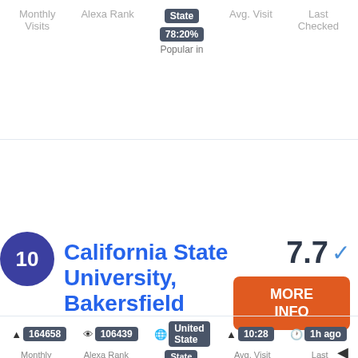| Monthly Visits | Alexa Rank | State | Avg. Visit | Last Checked |
| --- | --- | --- | --- | --- |
|  |  | 78:20% |  |  |
|  |  | Popular in |  |  |
10
California State University, Bakersfield
7.7 ✓
MORE INFO
| Monthly Visits | Alexa Rank | State | Avg. Visit | Last Checked |
| --- | --- | --- | --- | --- |
| 164658 | 106439 | United State | 10:28 | 1h ago |
|  |  | 33:40% |  |  |
|  |  | Popular in |  |  |